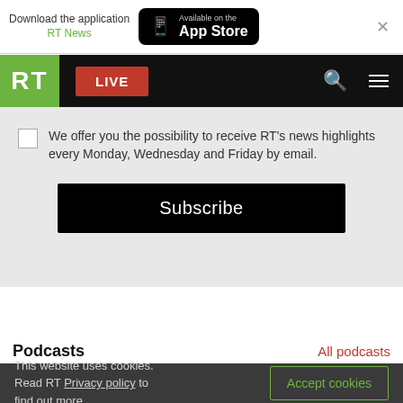[Figure (screenshot): App Store banner with 'Download the application RT News' text and an App Store button]
[Figure (screenshot): RT website navigation bar with green RT logo, red LIVE button, search icon, and hamburger menu]
We offer you the possibility to receive RT's news highlights every Monday, Wednesday and Friday by email.
Subscribe
Podcasts
All podcasts
This website uses cookies. Read RT Privacy policy to find out more.
Accept cookies